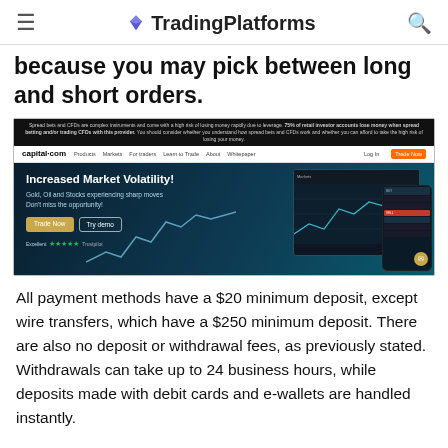TradingPlatforms
because you may pick between long and short orders.
[Figure (screenshot): Screenshot of capital.com website showing 'Increased Market Volatility!' headline with trading platform interface on laptop and mobile, Trade Now and Try demo buttons, Trustpilot rating, and top navigation bar with Products, Markets, For Traders, Learn to Trade, About, Whitepaper links.]
All payment methods have a $20 minimum deposit, except wire transfers, which have a $250 minimum deposit. There are also no deposit or withdrawal fees, as previously stated. Withdrawals can take up to 24 business hours, while deposits made with debit cards and e-wallets are handled instantly.